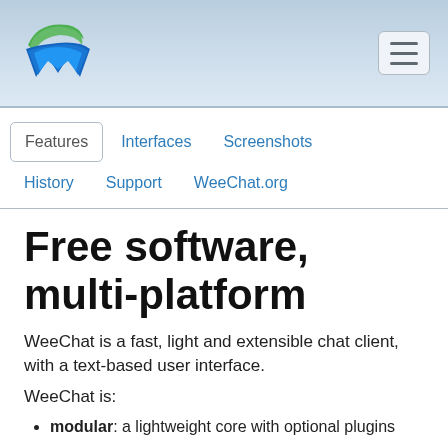WeeChat logo and navigation menu
Features  Interfaces  Screenshots  History  Support  WeeChat.org
Free software, multi-platform
WeeChat is a fast, light and extensible chat client, with a text-based user interface.
WeeChat is:
modular: a lightweight core with optional plugins
multi-protocols architecture (mainly IRC)